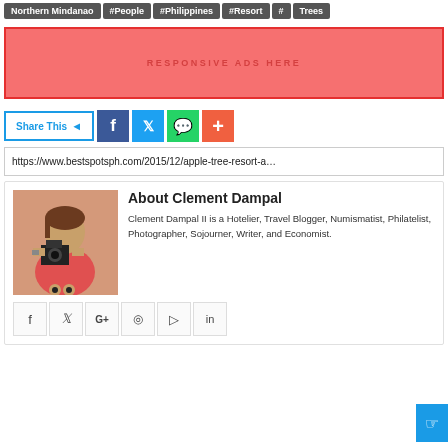#Northern Mindanao  #People  #Philippines  #Resort  #Trees
[Figure (infographic): Red advertisement placeholder box with text RESPONSIVE ADS HERE]
Share This   [Facebook] [Twitter] [WhatsApp] [+]
https://www.bestspotsph.com/2015/12/apple-tree-resort-a
About Clement Dampal
Clement Dampal II is a Hotelier, Travel Blogger, Numismatist, Philatelist, Photographer, Sojourner, Writer, and Economist.
[Figure (photo): Photo of Clement Dampal holding a camera in front of a mirror]
Social icons: Facebook, Twitter, Google+, Instagram, Pinterest, LinkedIn